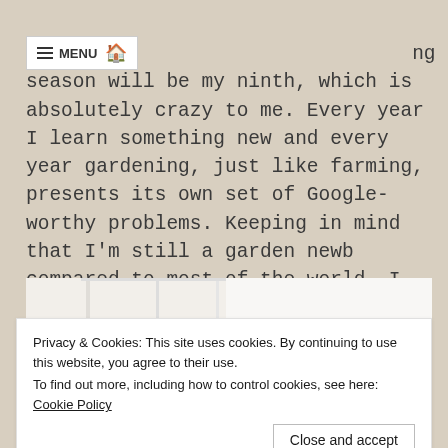≡ MENU 🏠
ng season will be my ninth, which is absolutely crazy to me. Every year I learn something new and every year gardening, just like farming, presents its own set of Google-worthy problems. Keeping in mind that I'm still a garden newb compared to most of the world, I wanted to present a few tomato planting tips.
[Figure (photo): Photo of red tomatoes near a window, partially obscured by cookie consent banner]
Privacy & Cookies: This site uses cookies. By continuing to use this website, you agree to their use.
To find out more, including how to control cookies, see here: Cookie Policy
Close and accept
[Figure (photo): Bottom portion of an image showing what appears to be a metal container or bucket]